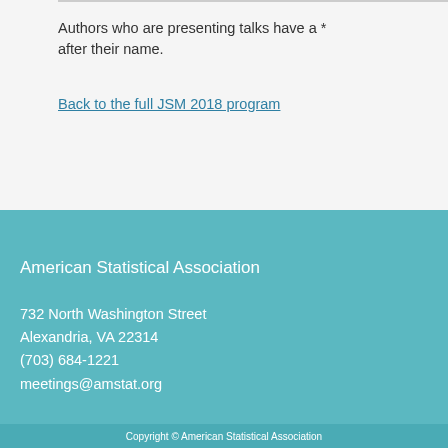Authors who are presenting talks have a * after their name.
Back to the full JSM 2018 program
American Statistical Association
732 North Washington Street
Alexandria, VA 22314
(703) 684-1221
meetings@amstat.org
Copyright © American Statistical Association